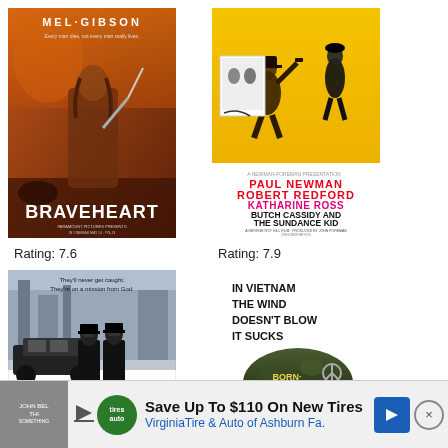[Figure (photo): Braveheart movie poster featuring Mel Gibson holding a sword, with text 'MEL GIBSON' at top and 'BRAVEHEART' at bottom]
[Figure (photo): Butch Cassidy and the Sundance Kid movie poster on yellow background, featuring Paul Newman and Robert Redford]
Rating: 7.6
Rating: 7.9
[Figure (photo): The Blues Brothers movie poster in black and white, featuring two men in black suits and sunglasses]
[Figure (photo): Full Metal Jacket movie poster showing a military helmet with text 'IN VIETNAM THE WIND DOESN'T BLOW IT SUCKS' and 'BORN TO KILL' written on the helmet]
Save Up To $110 On New Tires
VirginiaTire & Auto of Ashburn Fa.